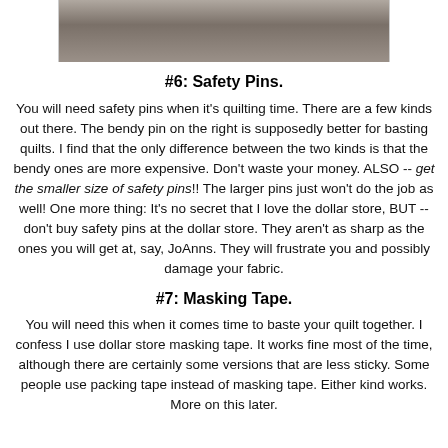[Figure (photo): Close-up photo of fingers/hand, cropped at top of page]
#6: Safety Pins.
You will need safety pins when it's quilting time. There are a few kinds out there. The bendy pin on the right is supposedly better for basting quilts. I find that the only difference between the two kinds is that the bendy ones are more expensive. Don't waste your money. ALSO -- get the smaller size of safety pins!! The larger pins just won't do the job as well! One more thing: It's no secret that I love the dollar store, BUT -- don't buy safety pins at the dollar store. They aren't as sharp as the ones you will get at, say, JoAnns. They will frustrate you and possibly damage your fabric.
#7: Masking Tape.
You will need this when it comes time to baste your quilt together. I confess I use dollar store masking tape. It works fine most of the time, although there are certainly some versions that are less sticky. Some people use packing tape instead of masking tape. Either kind works. More on this later.